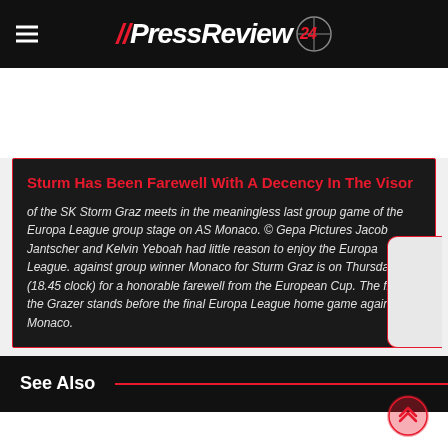//PressReview24
Sturm Has Been Farewell With A Decency In The Visor
of the SK Storm Graz meets in the meaningless last group game of the Europa League group stage on AS Monaco. © Gepa Pictures Jacob Jantscher and Kelvin Yeboah had little reason to enjoy the Europa League. against group winner Monaco for Sturm Graz is on Thursday (18.45 clock) for a honorable farewell from the European Cup. The from the Grazer stands before the final Europa League home game against AS Monaco.
See Also